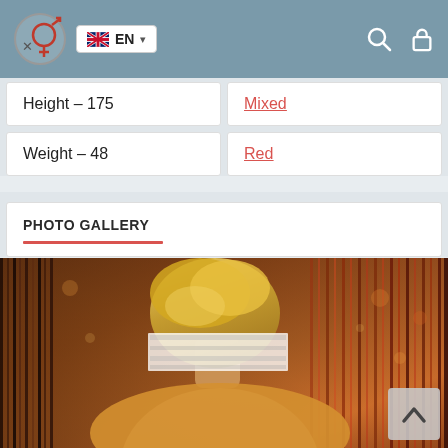EN language selector with UK flag, search icon, lock icon
Height – 175
Mixed
Weight – 48
Red
PHOTO GALLERY
[Figure (photo): Woman with blonde updo hair facing slightly away from camera, face blurred with white rectangle, wearing yellow/gold clothing, against a warm bokeh/curtain background with metallic vertical stripes in brown and red tones]